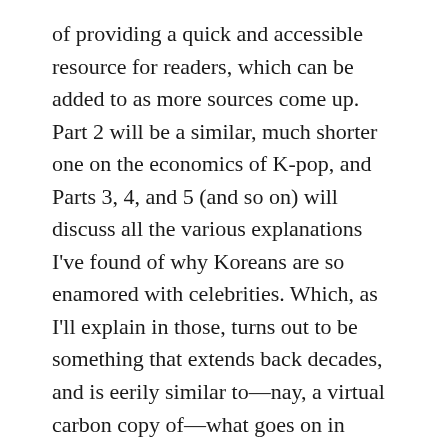of providing a quick and accessible resource for readers, which can be added to as more sources come up. Part 2 will be a similar, much shorter one on the economics of K-pop, and Parts 3, 4, and 5 (and so on) will discuss all the various explanations I've found of why Koreans are so enamored with celebrities. Which, as I'll explain in those, turns out to be something that extends back decades, and is eerily similar to—nay, a virtual carbon copy of—what goes on in Japan.
Sorry that my first long post in a while ends up as nothing more than a glorified bibliography, though, which definitely…